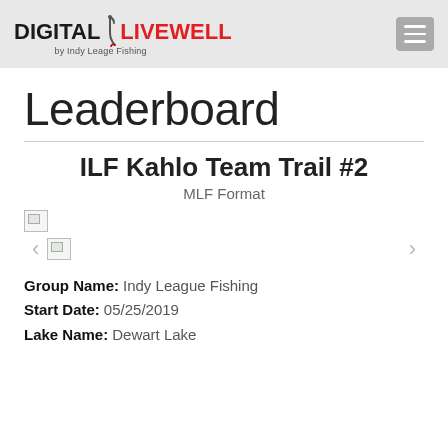DIGITAL LIVEWELL by Indy Leage Fishing
Leaderboard
ILF Kahlo Team Trail #2
MLF Format
[Figure (photo): Two broken image placeholders with left and right carousel navigation arrows]
Group Name: Indy League Fishing
Start Date: 05/25/2019
Lake Name: Dewart Lake